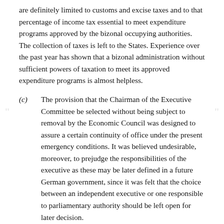are definitely limited to customs and excise taxes and to that percentage of income tax essential to meet expenditure programs approved by the bizonal occupying authorities. The collection of taxes is left to the States. Experience over the past year has shown that a bizonal administration without sufficient powers of taxation to meet its approved expenditure programs is almost helpless.
(c) The provision that the Chairman of the Executive Committee be selected without being subject to removal by the Economic Council was designed to assure a certain continuity of office under the present emergency conditions. It was believed undesirable, moreover, to prejudge the responsibilities of the executive as these may be later defined in a future German government, since it was felt that the choice between an independent executive or one responsible to parliamentary authority should be left open for later decision.
(d) The administration of departments in conjunction with representatives from the several States would result in a top-heavy structure which would make impossible a coordinated and effective bizonal economic administration. The bizonal